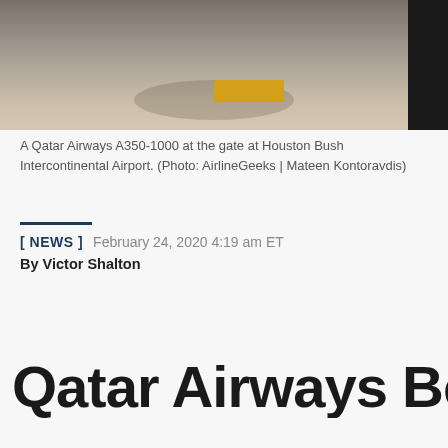[Figure (photo): A Qatar Airways A350-1000 aircraft at the gate at Houston Bush Intercontinental Airport, showing tarmac with a yellow rectangular marking and a dark vehicle partially visible in the upper right corner.]
A Qatar Airways A350-1000 at the gate at Houston Bush Intercontinental Airport. (Photo: AirlineGeeks | Mateen Kontoravdis)
[ NEWS ]  February 24, 2020 4:19 am ET
By Victor Shalton
Qatar Airways Beginning Scheduled...